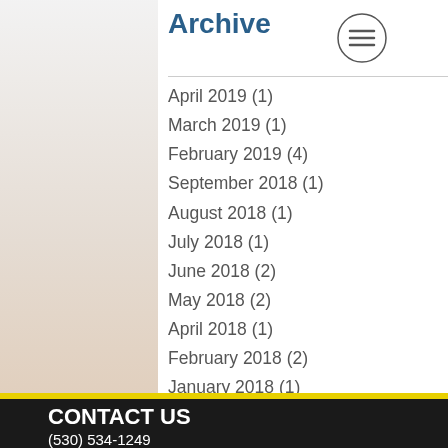Archive
April 2019 (1)
March 2019 (1)
February 2019 (4)
September 2018 (1)
August 2018 (1)
July 2018 (1)
June 2018 (2)
May 2018 (2)
April 2018 (1)
February 2018 (2)
January 2018 (1)
December 2017 (1)
November 2017 (1)
October 2017 (1)
CONTACT US
(530) 534-1249
info@lordsgymoroville.org